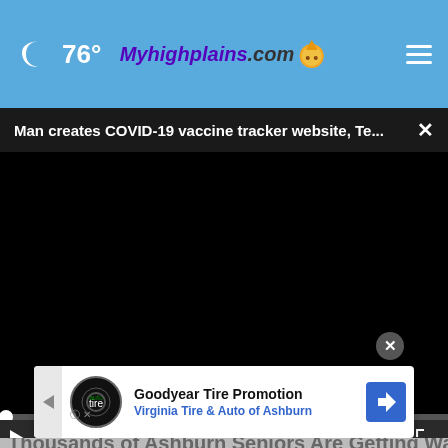🌙 76° Myhighplains.com ☰
Man creates COVID-19 vaccine tracker website, Te... ×
[Figure (screenshot): Black video player screen with playback controls: play button, mute button, time display 00:00, fullscreen button. Progress bar at top of controls with white dot at far left.]
Thousands of Ashburn Seniors Are Getting Walk-
Goodyear Tire Promotion Virginia Tire & Auto of Ashburn